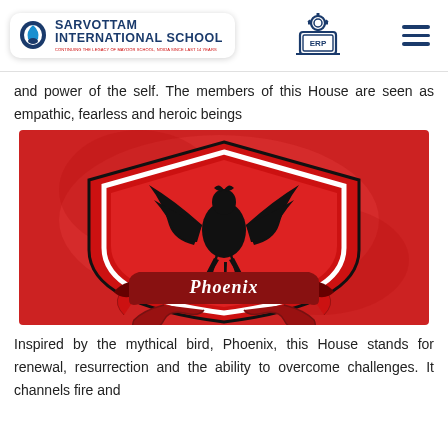Sarvottam International School — ERP navigation header
and power of the self. The members of this House are seen as empathic, fearless and heroic beings
[Figure (illustration): Red shield-shaped emblem with a black phoenix bird in the center and a decorative banner reading 'Phoenix' at the bottom. Background is red with ornamental scroll work.]
Inspired by the mythical bird, Phoenix, this House stands for renewal, resurrection and the ability to overcome challenges. It channels fire and